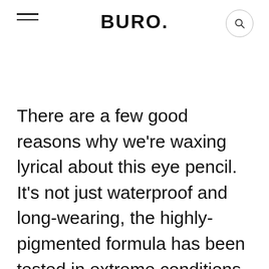BURO.
There are a few good reasons why we're waxing lyrical about this eye pencil. It's not just waterproof and long-wearing, the highly-pigmented formula has been tested in extreme conditions and vouched by various performers, be it swimmers (immersed in 30°C water for three hours, no less) or stage